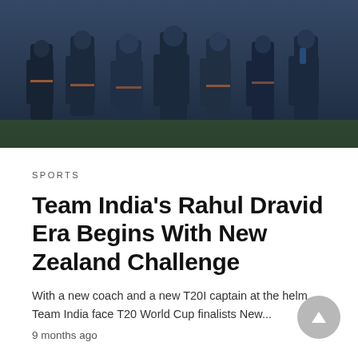[Figure (photo): Team India cricket players in dark navy blue jerseys huddled together during a training session or team meeting, viewed from the waist down.]
SPORTS
Team India’s Rahul Dravid Era Begins With New Zealand Challenge
With a new coach and a new T20I captain at the helm, Team India face T20 World Cup finalists New...
9 months ago
Show more Posts »